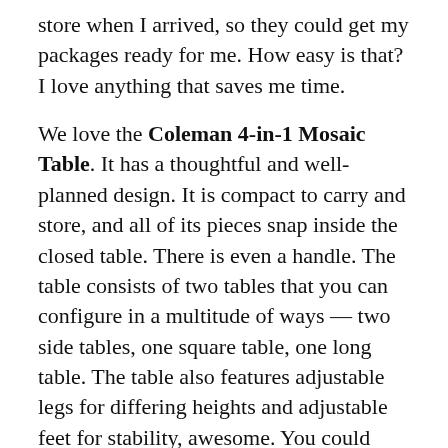store when I arrived, so they could get my packages ready for me. How easy is that? I love anything that saves me time.
We love the Coleman 4-in-1 Mosaic Table. It has a thoughtful and well-planned design. It is compact to carry and store, and all of its pieces snap inside the closed table. There is even a handle. The table consists of two tables that you can configure in a multitude of ways — two side tables, one square table, one long table. The table also features adjustable legs for differing heights and adjustable feet for stability, awesome. You could even make a two-level table for serving. Strong, sturdy, stable.